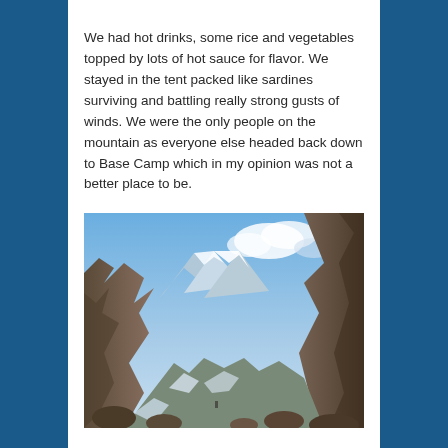We had hot drinks, some rice and vegetables topped by lots of hot sauce for flavor. We stayed in the tent packed like sardines surviving and battling really strong gusts of winds. We were the only people on the mountain as everyone else headed back down to Base Camp which in my opinion was not a better place to be.
[Figure (photo): Mountain landscape photograph showing rocky peaks with snow patches, a valley between steep cliffs, and a partly cloudy blue sky. The terrain is rugged with boulders and sparse vegetation visible in the foreground.]